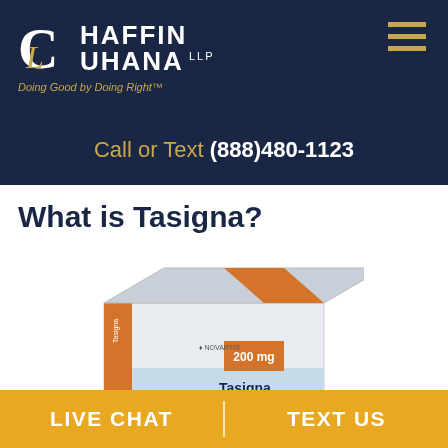[Figure (logo): Chaffin Luhana LLP law firm logo with tagline 'Doing Good by Doing Right']
Call or Text (888)480-1123
What is Tasigna?
[Figure (photo): Tasigna 200mg medication box by Novartis]
LIVE CHAT
TEXT US